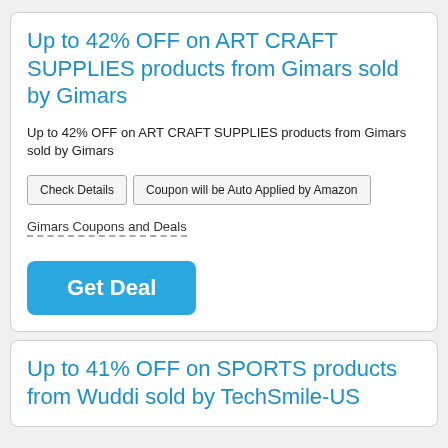Up to 42% OFF on ART CRAFT SUPPLIES products from Gimars sold by Gimars
Up to 42% OFF on ART CRAFT SUPPLIES products from Gimars sold by Gimars
Check Details | Coupon will be Auto Applied by Amazon
Gimars Coupons and Deals
Get Deal
Up to 41% OFF on SPORTS products from Wuddi sold by TechSmile-US